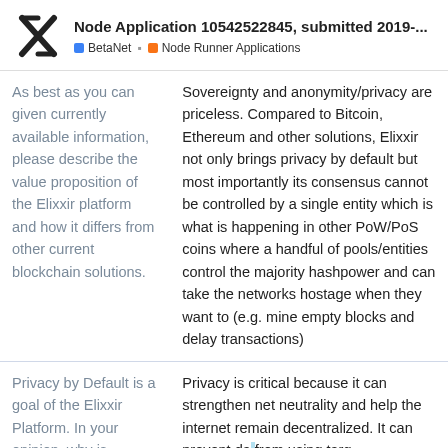Node Application 10542522845, submitted 2019-... | BetaNet | Node Runner Applications
| Question | Answer |
| --- | --- |
| As best as you can given currently available information, please describe the value proposition of the Elixxir platform and how it differs from other current blockchain solutions. | Sovereignty and anonymity/privacy are priceless. Compared to Bitcoin, Ethereum and other solutions, Elixxir not only brings privacy by default but most importantly its consensus cannot be controlled by a single entity which is what is happening in other PoW/PoS coins where a handful of pools/entities control the majority hashpower and can take the networks hostage when they want to (e.g. mine empty blocks and delay transactions) |
| Privacy by Default is a goal of the Elixxir Platform. In your opinion, why is Privacy by Default critical for the future of the... | Privacy is critical because it can strengthen net neutrality and help the internet remain decentralized. It can prevent da... from using targ... |
1 / 3